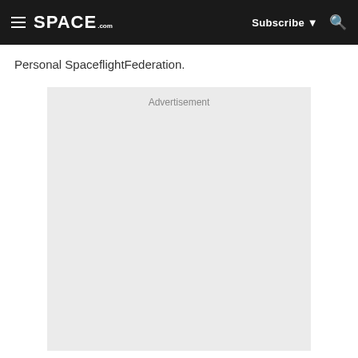SPACE.com | Subscribe | Search
Personal SpaceflightFederation.
[Figure (other): Advertisement placeholder box with light gray background and 'Advertisement' label at top center]